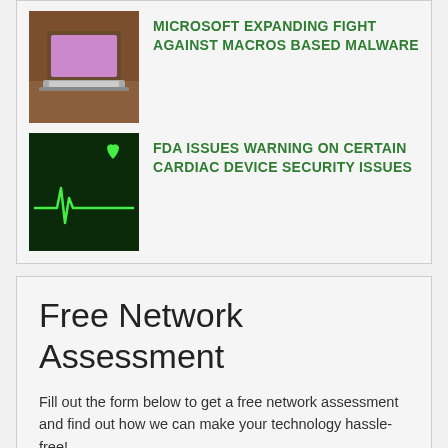[Figure (illustration): Laptop computer illustration on brown desk background]
MICROSOFT EXPANDING FIGHT AGAINST MACROS BASED MALWARE
[Figure (illustration): Heart monitor / EKG line on dark green background with green heart icon]
FDA ISSUES WARNING ON CERTAIN CARDIAC DEVICE SECURITY ISSUES
Free Network Assessment
Fill out the form below to get a free network assessment and find out how we can make your technology hassle-free!
Name *
Email *
Phone